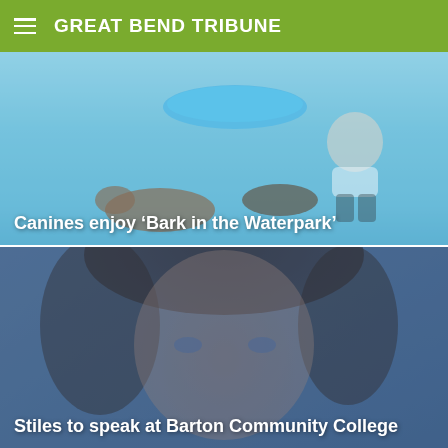GREAT BEND TRIBUNE
[Figure (photo): Dogs and a person playing in a waterpark pool. A blue inflatable float is visible in the background. A woman in a white t-shirt and black shorts reaches down toward dogs in shallow water.]
Canines enjoy ‘Bark in the Waterpark’
[Figure (photo): Close-up portrait of a woman with brown hair and blue eyes, with a blue-toned overlay.]
Stiles to speak at Barton Community College